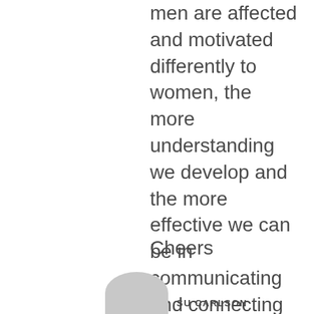men are affected and motivated differently to women, the more understanding we develop and the more effective we can be in communicating and connecting with beautiful wonder men.
Cheers
[Figure (photo): Circular avatar/profile photo placeholder in gray]
SU CARLSON